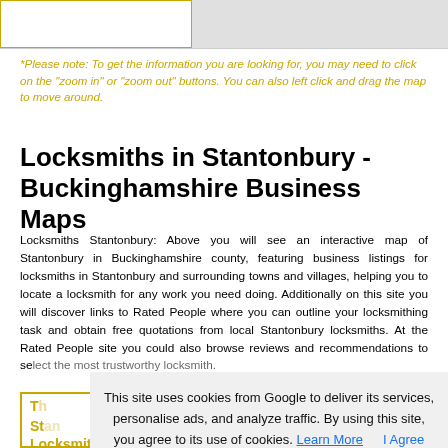[Figure (other): Top map bar area with white left panel and grey right panel, gold border on left portion]
*Please note: To get the information you are looking for, you may need to click on the "zoom in" or "zoom out" buttons. You can also left click and drag the map to move around.
Locksmiths in Stantonbury - Buckinghamshire Business Maps
Locksmiths Stantonbury: Above you will see an interactive map of Stantonbury in Buckinghamshire county, featuring business listings for locksmiths in Stantonbury and surrounding towns and villages, helping you to locate a locksmith for any work you need doing. Additionally on this site you will discover links to Rated People where you can outline your locksmithing task and obtain free quotations from local Stantonbury locksmiths. At the Rated People site you could also browse reviews and recommendations to select the most trustworthy locksmith.
This site uses cookies from Google to deliver its services, personalise ads, and analyze traffic. By using this site, you agree to its use of cookies. Learn More   I Agree